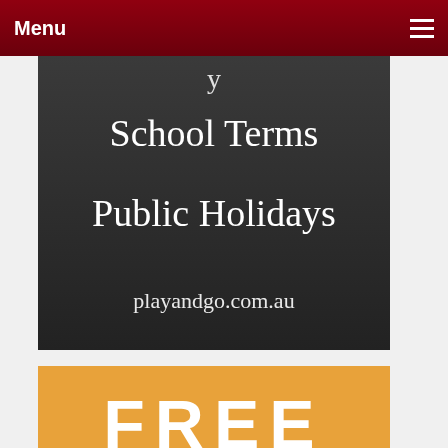Menu
[Figure (photo): Chalkboard image showing 'School Terms Public Holidays' with playandgo.com.au at the bottom on dark slate background]
[Figure (infographic): Orange banner with white text reading FREE events & activities (may include some payable components)]
FROM OUR INSTAGRAM
[Figure (logo): Play and Go logo with tree and car]
PLAYANDGOADELAIDE